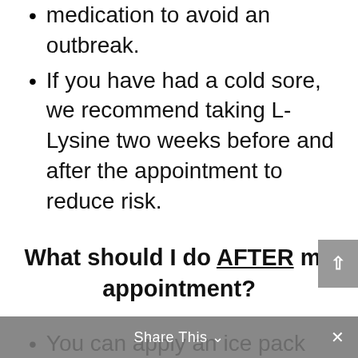medication to avoid an outbreak.
If you have had a cold sore, we recommend taking L-Lysine two weeks before and after the appointment to reduce risk.
What should I do AFTER my appointment?
You can apply an ice pack 10 minutes at a time to reduce swelling.
Apply provided aftercare ointment several times a day to
Share This ×